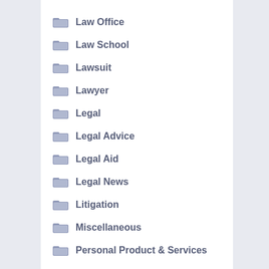Law Office
Law School
Lawsuit
Lawyer
Legal
Legal Advice
Legal Aid
Legal News
Litigation
Miscellaneous
Personal Product & Services
Pets & Animals